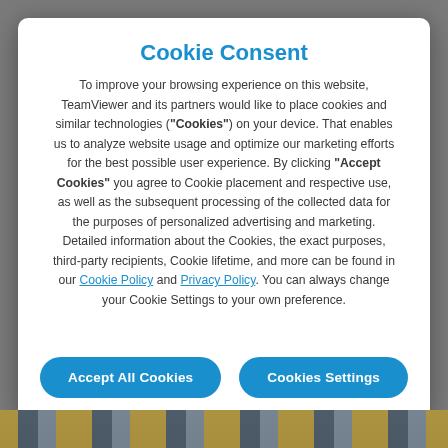Cookie Consent
To improve your browsing experience on this website, TeamViewer and its partners would like to place cookies and similar technologies (“Cookies”) on your device. That enables us to analyze website usage and optimize our marketing efforts for the best possible user experience. By clicking “Accept Cookies” you agree to Cookie placement and respective use, as well as the subsequent processing of the collected data for the purposes of personalized advertising and marketing. Detailed information about the Cookies, the exact purposes, third-party recipients, Cookie lifetime, and more can be found in our Cookie Policy and Privacy Policy. You can always change your Cookie Settings to your own preference.